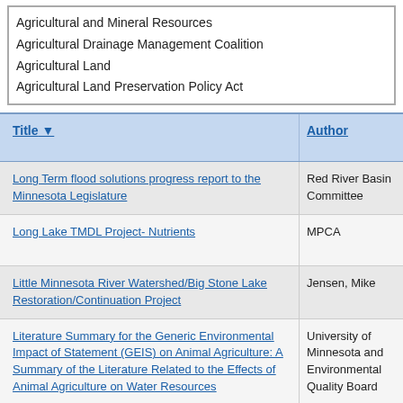Agricultural and Mineral Resources
Agricultural Drainage Management Coalition
Agricultural Land
Agricultural Land Preservation Policy Act
| Title ▼ | Author | Pu Da |
| --- | --- | --- |
| Long Term flood solutions progress report to the Minnesota Legislature | Red River Basin Committee | 20 |
| Long Lake TMDL Project- Nutrients | MPCA | 200 |
| Little Minnesota River Watershed/Big Stone Lake Restoration/Continuation Project | Jensen, Mike | 200 |
| Literature Summary for the Generic Environmental Impact of Statement (GEIS) on Animal Agriculture: A Summary of the Literature Related to the Effects of Animal Agriculture on Water Resources | University of Minnesota and Environmental Quality Board | 199 |
| Lincoln County Verdi Township Spring Creek Watershed Survey | MN Department of Agriuculture | 200 |